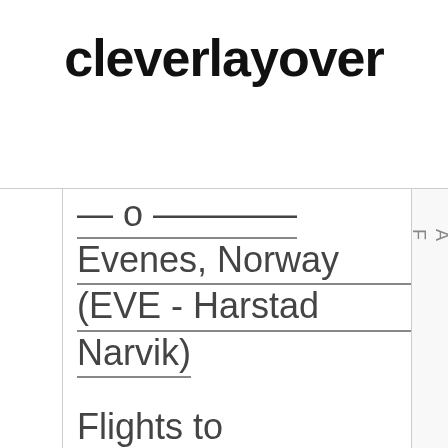cleverlayover
Evenes, Norway (EVE - Harstad Narvik)
Flights to Evansville, IN